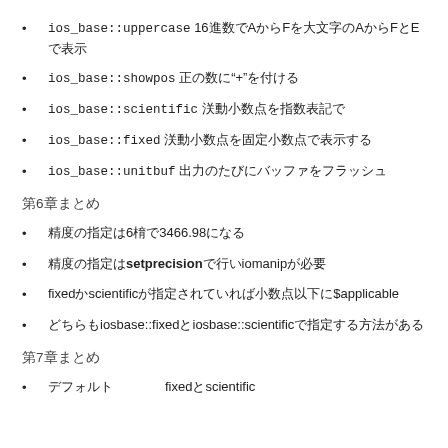ios_base::uppercase 16進数でAからFを大文字のAからFとEで表示
ios_base::showpos 正の数に"+"を付ける
ios_base::scientific 浮動小数点を指数表記で
ios_base::fixed 浮動小数点を固定小数点で表示する
ios_base::unitbuf 出力のたびにバッファをフラッシュ
第6章まとめ
精度の指定は6桁で3466.98になる
精度の指定はsetprecisionで行いiomanipが必要
fixedかscientificが指定されていれば小数点以下に適用
どちらもiosbase::fixedとiosbase::scientificで指定する方法がある
第7章まとめ
デフォルト——fixedとscientific